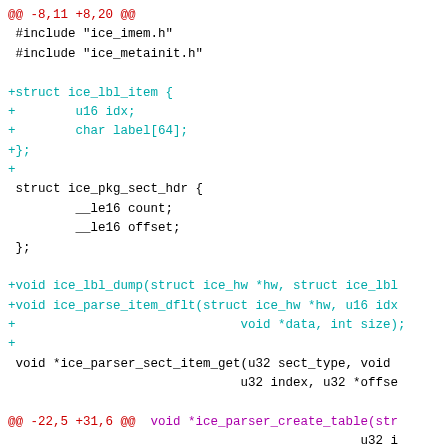[Figure (screenshot): A unified diff of C header files showing additions to ice_parser_util.h and start of ice_pg_cam.c diff. The diff shows added struct ice_lbl_item, added function declarations ice_lbl_dump and ice_parse_item_dflt, and changes to ice_parser_create_table signature including a new bool no_offset parameter.]